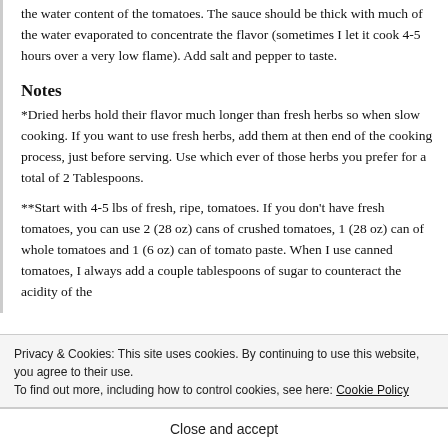the water content of the tomatoes. The sauce should be thick with much of the water evaporated to concentrate the flavor (sometimes I let it cook 4-5 hours over a very low flame). Add salt and pepper to taste.
Notes
*Dried herbs hold their flavor much longer than fresh herbs so when slow cooking. If you want to use fresh herbs, add them at then end of the cooking process, just before serving. Use which ever of those herbs you prefer for a total of 2 Tablespoons.
**Start with 4-5 lbs of fresh, ripe, tomatoes. If you don't have fresh tomatoes, you can use 2 (28 oz) cans of crushed tomatoes, 1 (28 oz) can of whole tomatoes and 1 (6 oz) can of tomato paste. When I use canned tomatoes, I always add a couple tablespoons of sugar to counteract the acidity of the
bolas, throw some in.
Privacy & Cookies: This site uses cookies. By continuing to use this website, you agree to their use.
To find out more, including how to control cookies, see here: Cookie Policy
Close and accept